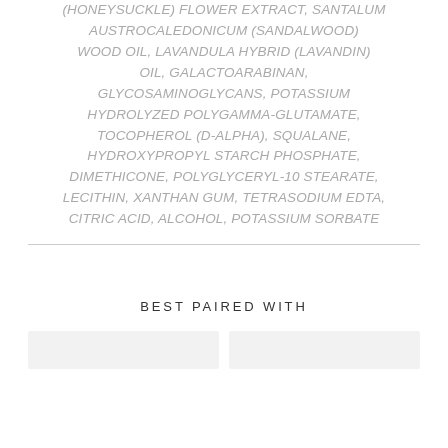(HONEYSUCKLE) FLOWER EXTRACT, SANTALUM AUSTROCALEDONICUM (SANDALWOOD) WOOD OIL, LAVANDULA HYBRID (LAVANDIN) OIL, GALACTOARABINAN, GLYCOSAMINOGLYCANS, POTASSIUM HYDROLYZED POLYGAMMA-GLUTAMATE, TOCOPHEROL (D-ALPHA), SQUALANE, HYDROXYPROPYL STARCH PHOSPHATE, DIMETHICONE, POLYGLYCERYL-10 STEARATE, LECITHIN, XANTHAN GUM, TETRASODIUM EDTA, CITRIC ACID, ALCOHOL, POTASSIUM SORBATE
BEST PAIRED WITH